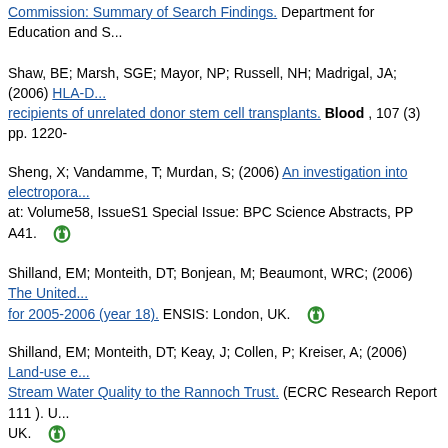Commission: Summary of Search Findings. Department for Education and S...
Shaw, BE; Marsh, SGE; Mayor, NP; Russell, NH; Madrigal, JA; (2006) HLA-D... recipients of unrelated donor stem cell transplants. Blood , 107 (3) pp. 1220-
Sheng, X; Vandamme, T; Murdan, S; (2006) An investigation into electropora... at: Volume58, IssueS1 Special Issue: BPC Science Abstracts, PP A41.
Shilland, EM; Monteith, DT; Bonjean, M; Beaumont, WRC; (2006) The United... for 2005-2006 (year 18). ENSIS: London, UK.
Shilland, EM; Monteith, DT; Keay, J; Collen, P; Kreiser, A; (2006) Land-use e... Stream Water Quality to the Rannoch Trust. (ECRC Research Report 111 ). UK.
Shilland, EM; Sayer, CD; (2006) Pond amphibian survey with special refere... Constable, Norfolk. (ECRC Research Report 108 ). UCL Environmental Char...
Sidoli, F; Smith, LJ; Crowther, PA; (2006) The massive star population in the... NOTICES OF THE ROYAL ASTRONOMICAL SOCIETY , 370 (2) pp. 799-81